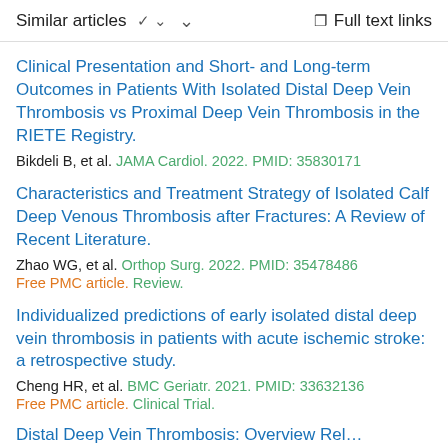Similar articles   ∨   Full text links
Clinical Presentation and Short- and Long-term Outcomes in Patients With Isolated Distal Deep Vein Thrombosis vs Proximal Deep Vein Thrombosis in the RIETE Registry.
Bikdeli B, et al. JAMA Cardiol. 2022. PMID: 35830171
Characteristics and Treatment Strategy of Isolated Calf Deep Venous Thrombosis after Fractures: A Review of Recent Literature.
Zhao WG, et al. Orthop Surg. 2022. PMID: 35478486
Free PMC article. Review.
Individualized predictions of early isolated distal deep vein thrombosis in patients with acute ischemic stroke: a retrospective study.
Cheng HR, et al. BMC Geriatr. 2021. PMID: 33632136
Free PMC article. Clinical Trial.
Distal Deep Vein Thrombosis: Overview Rel…